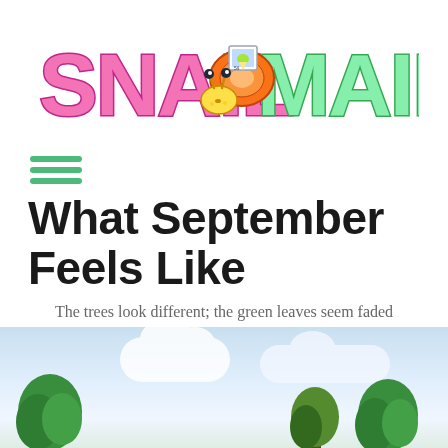[Figure (logo): Snail Mail logo with cartoon snail character, pink bubble-letter SNAIL text and green bubble-letter MAIL text]
[Figure (other): Hamburger menu icon with three green horizontal bars]
What September Feels Like
The trees look different; the green leaves seem faded
[Figure (photo): Outdoor photo of trees with green foliage against a partly cloudy blue sky]